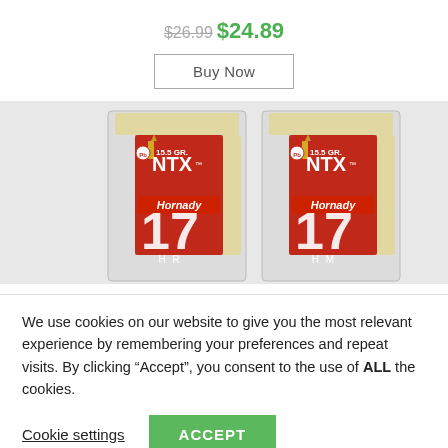$26.99 $24.89
Buy Now
[Figure (photo): Two boxes of Hornady 17 HMR/HMR 15.5 GR. NTX ammunition in clear plastic containers with red labels showing bullets]
We use cookies on our website to give you the most relevant experience by remembering your preferences and repeat visits. By clicking “Accept”, you consent to the use of ALL the cookies.
Cookie settings
ACCEPT